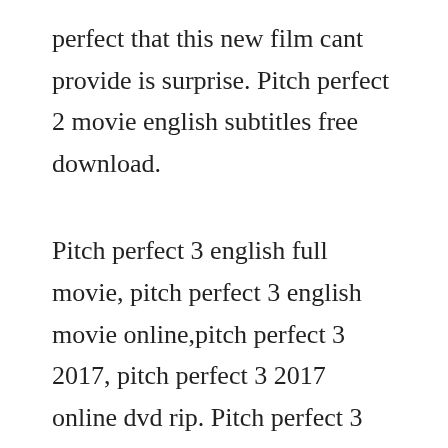perfect that this new film cant provide is surprise. Pitch perfect 2 movie english subtitles free download.
Pitch perfect 3 english full movie, pitch perfect 3 english movie online,pitch perfect 3 2017, pitch perfect 3 2017 online dvd rip. Pitch perfect 3 2017 official trailer, full movie, streaming, streaming, download, best quality hd. Walking into this movie with very low expectations, i definitely was pleasantly surprised. Watch pitch perfect 2 2015 full english full movie online. You wont need to